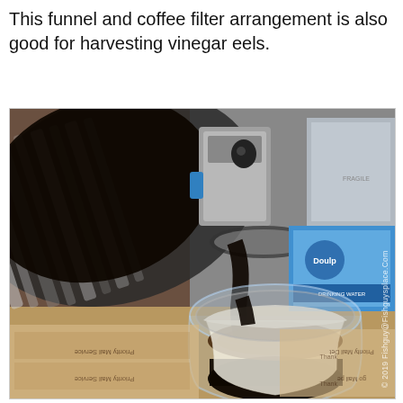This funnel and coffee filter arrangement is also good for harvesting vinegar eels.
[Figure (photo): A large glass jar being tilted to pour dark liquid through a coffee filter (inside a glass bowl) placed over another jar. Background shows cardboard boxes with upside-down 'Mail Service' text and a blue container (Doulton). A watermark reads '© 2019 Fishguy@Fishguysplace.Com'.]